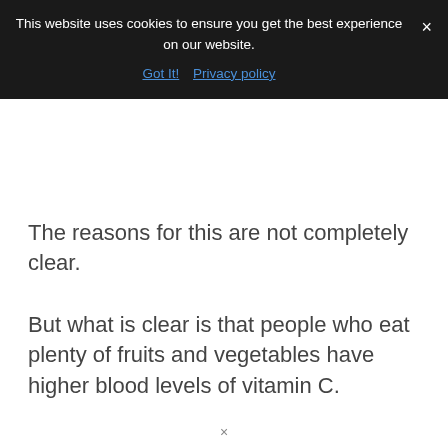This website uses cookies to ensure you get the best experience on our website.
Got It!  Privacy policy
The reasons for this are not completely clear.
But what is clear is that people who eat plenty of fruits and vegetables have higher blood levels of vitamin C.
Unfortunately, my Father-in-Law recently passed away due to a stroke, and he was not